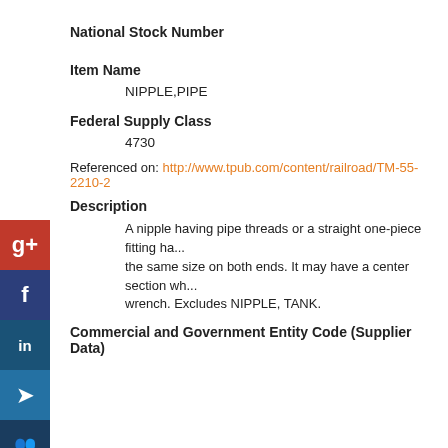National Stock Number
Item Name
NIPPLE,PIPE
Federal Supply Class
4730
Referenced on: http://www.tpub.com/content/railroad/TM-55-2210-2...
Description
A nipple having pipe threads or a straight one-piece fitting ha... the same size on both ends. It may have a center section wh... wrench. Excludes NIPPLE, TANK.
Commercial and Government Entity Code (Supplier Data)